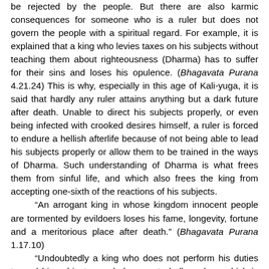be rejected by the people. But there are also karmic consequences for someone who is a ruler but does not govern the people with a spiritual regard. For example, it is explained that a king who levies taxes on his subjects without teaching them about righteousness (Dharma) has to suffer for their sins and loses his opulence. (Bhagavata Purana 4.21.24) This is why, especially in this age of Kali-yuga, it is said that hardly any ruler attains anything but a dark future after death. Unable to direct his subjects properly, or even being infected with crooked desires himself, a ruler is forced to endure a hellish afterlife because of not being able to lead his subjects properly or allow them to be trained in the ways of Dharma. Such understanding of Dharma is what frees them from sinful life, and which also frees the king from accepting one-sixth of the reactions of his subjects.
“An arrogant king in whose kingdom innocent people are tormented by evildoers loses his fame, longevity, fortune and a meritorious place after death.” (Bhagavata Purana 1.17.10)
“Undoubtedly a king who does not perform his duties toward his subjects regularly goes to hell, a place which is devoid of air.” (Ramayana 7.53.6)
“A king who (duly) protects (his subjects) receives from each and all the sixth part of their spiritual merit; if he